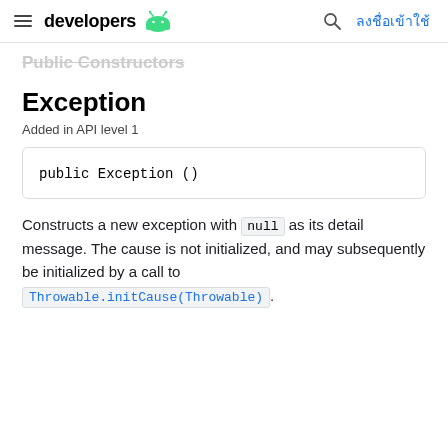developers | ลงชื่อเข้าใช้
Public Constructors
Exception
Added in API level 1
Constructs a new exception with null as its detail message. The cause is not initialized, and may subsequently be initialized by a call to Throwable.initCause(Throwable).